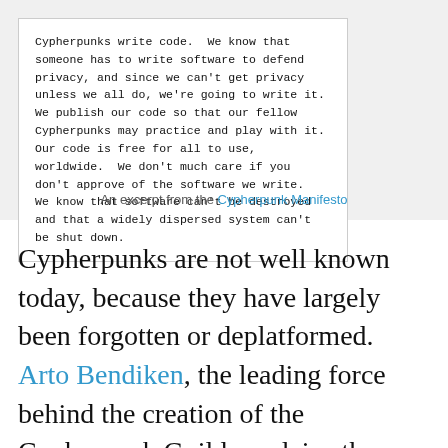[Figure (screenshot): A boxed excerpt in monospace font on white background, set against a grey area. Text reads: Cypherpunks write code. We know that someone has to write software to defend privacy, and since we can't get privacy unless we all do, we're going to write it. We publish our code so that our fellow Cypherpunks may practice and play with it. Our code is free for all to use, worldwide. We don't much care if you don't approve of the software we write. We know that software can't be destroyed and that a widely dispersed system can't be shut down.]
An excerpt from the Cypherpunk Manifesto
Cypherpunks are not well known today, because they have largely been forgotten or deplatformed. Arto Bendiken, the leading force behind the creation of the Cypherpunk Guild, explains the long and rich history of cypherpunk software contributions in the Cypherpunk Guild